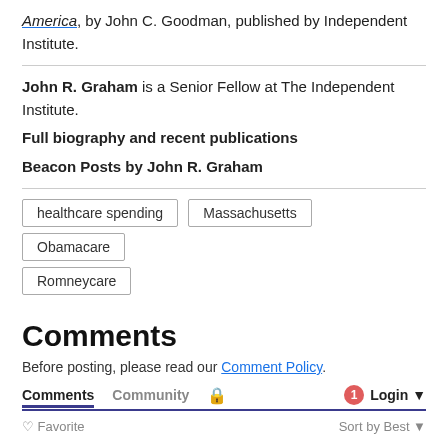America, by John C. Goodman, published by Independent Institute.
John R. Graham is a Senior Fellow at The Independent Institute.
Full biography and recent publications
Beacon Posts by John R. Graham
healthcare spending
Massachusetts
Obamacare
Romneycare
Comments
Before posting, please read our Comment Policy.
Comments  Community  🔒  1  Login
♡ Favorite   Sort by Best